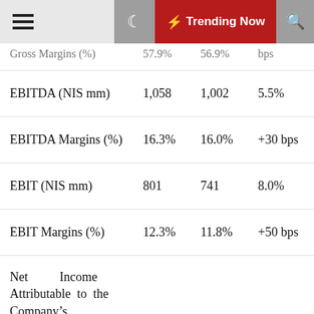Trending Now
|  | Col1 | Col2 | Change |
| --- | --- | --- | --- |
| Gross Margins (%) | 57.9% | 56.9% | bps |
| EBITDA (NIS mm) | 1,058 | 1,002 | 5.5% |
| EBITDA Margins (%) | 16.3% | 16.0% | +30 bps |
| EBIT (NIS mm) | 801 | 741 | 8.0% |
| EBIT Margins (%) | 12.3% | 11.8% | +50 bps |
| Net Income Attributable to the Company's Shareholders (NIS mm) | 536 | 464 | 15.4% |